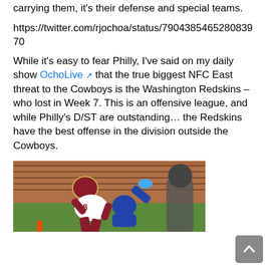carrying them, it's their defense and special teams.
https://twitter.com/rjochoa/status/790438546528083970
While it's easy to fear Philly, I've said on my daily show OchoLive that the true biggest NFC East threat to the Cowboys is the Washington Redskins – who lost in Week 7. This is an offensive league, and while Philly's D/ST are outstanding… the Redskins have the best offense in the division outside the Cowboys.
[Figure (photo): Washington Redskins player wearing number 8 jersey being tackled on a football field, with brick wall in background]